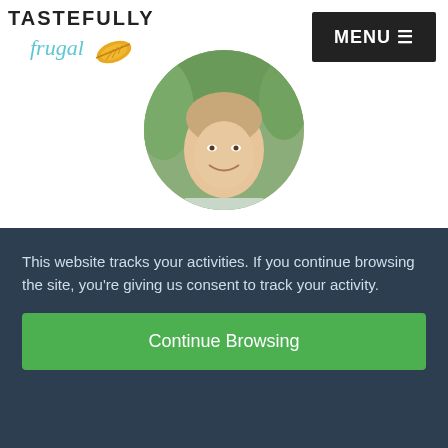TASTEFULLY frugal | MENU
[Figure (photo): Circular cropped profile photo of a person smiling outdoors with green background]
About Sydney
I'm Sydney, the creator here at Tastefully Frugal. I'm a mom to two crazy little boys and one little princess and married to the
This website tracks your activities. If you continue browsing the site, you're giving us consent to track your activity.
Continue Browsing